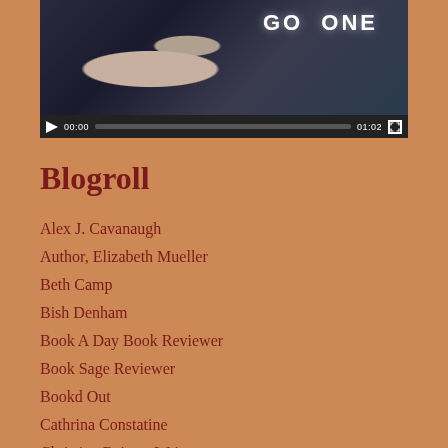[Figure (screenshot): Video player showing a dark thumbnail with text 'GO DONE' and video controls showing 00:00 / 01:02 with play button, progress bar, and fullscreen button]
Blogroll
Alex J. Cavanaugh
Author, Elizabeth Mueller
Beth Camp
Bish Denham
Book A Day Book Reviewer
Book Sage Reviewer
Bookd Out
Cathrina Constatine
Christine Rains – Writer
Damyanti Writes
Denise Covey